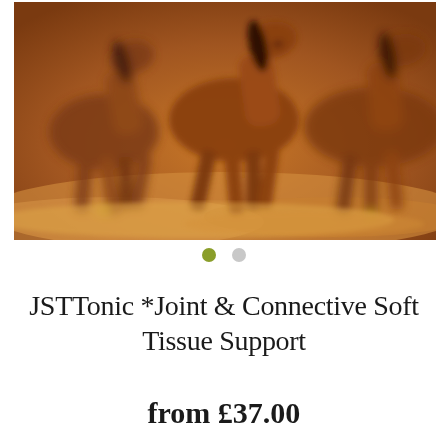[Figure (photo): Blurred photo of brown horses galloping across a dusty sandy terrain, motion-blurred dramatic action shot with warm orange and brown tones, with two circular navigation dots below the image (one green active, one grey inactive)]
JSTTonic *Joint & Connective Soft Tissue Support
from £37.00